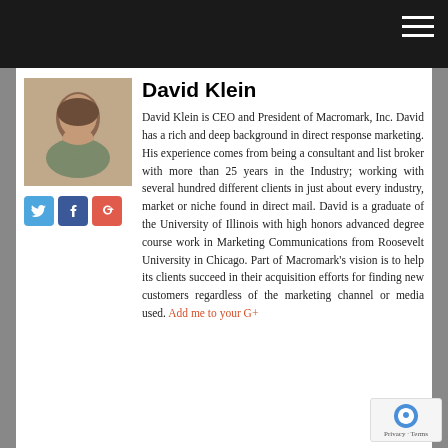[Figure (photo): Headshot photo of David Klein, a middle-aged man with dark hair, smiling, wearing a grey jacket]
[Figure (infographic): Social media icons: Twitter (blue), Facebook (dark blue), Google+ (red-orange)]
David Klein
David Klein is CEO and President of Macromark, Inc. David has a rich and deep background in direct response marketing. His experience comes from being a consultant and list broker with more than 25 years in the Industry; working with several hundred different clients in just about every industry, market or niche found in direct mail. David is a graduate of the University of Illinois with high honors advanced degree course work in Marketing Communications from Roosevelt University in Chicago. Part of Macromark's vision is to help its clients succeed in their acquisition efforts for finding new customers regardless of the marketing channel or media used. Add me to your G+